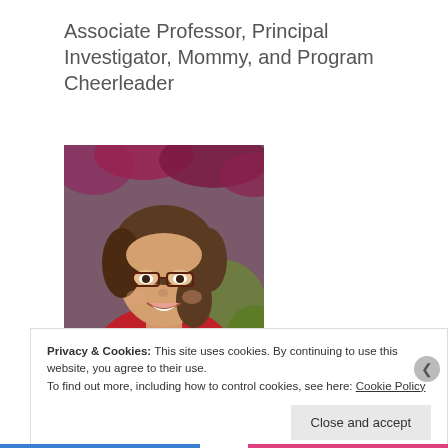Associate Professor, Principal Investigator, Mommy, and Program Cheerleader
[Figure (photo): Portrait photo of a smiling woman with glasses, wearing a red top, with a blurred floral background]
Privacy & Cookies: This site uses cookies. By continuing to use this website, you agree to their use.
To find out more, including how to control cookies, see here: Cookie Policy
Close and accept